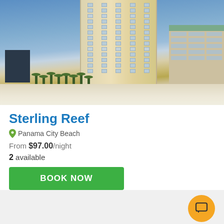[Figure (photo): Photo of Sterling Reef hotel tower in Panama City Beach — tall multi-story yellow/cream building against blue sky with white sandy beach in foreground and palm trees]
Sterling Reef
Panama City Beach
From $97.00/night
2 available
BOOK NOW
[Figure (other): Chat button (speech bubble icon) on orange circle at bottom right]